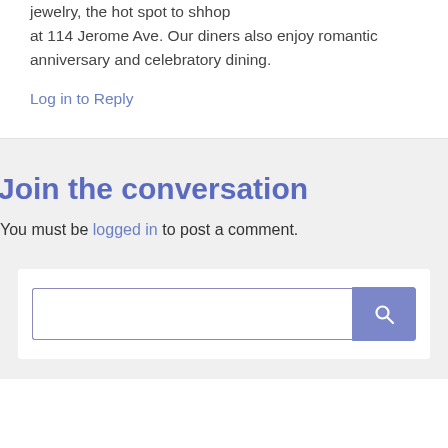jewelry, the hot spot to shhop at 114 Jerome Ave. Our diners also enjoy romantic anniversary and celebratory dining.
Log in to Reply
Join the conversation
You must be logged in to post a comment.
[Figure (screenshot): Search input box with a purple search button containing a magnifying glass icon]